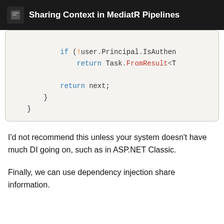Sharing Context in MediatR Pipelines
[Figure (screenshot): Code snippet showing end of a C# method with: if (!user.Principal.IsAuthen..., return Task.FromResult<T..., return next; followed by closing braces]
I'd not recommend this unless your system doesn't have much DI going on, such as in ASP.NET Classic.
Finally, we can use dependency injection share information.